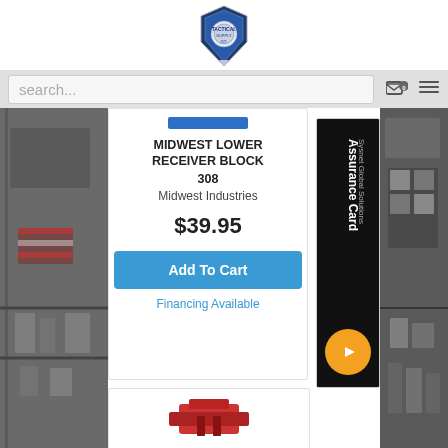[Figure (logo): Shield/badge shaped logo for a gun dealer/store, centered at top]
[Figure (screenshot): Search bar row with placeholder text 'search...', cart icon with 0, and hamburger menu icon]
MIDWEST LOWER RECEIVER BLOCK 308
Midwest Industries
$39.95
Add To Cart
Financing Available